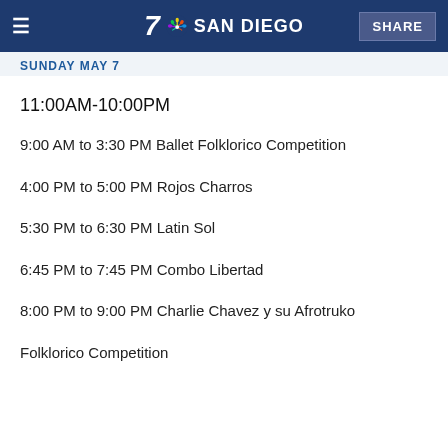7 SAN DIEGO | SHARE
SUNDAY MAY 7
11:00AM-10:00PM
9:00 AM to 3:30 PM Ballet Folklorico Competition
4:00 PM to 5:00 PM Rojos Charros
5:30 PM to 6:30 PM Latin Sol
6:45 PM to 7:45 PM Combo Libertad
8:00 PM to 9:00 PM Charlie Chavez y su Afrotruko
Folklorico Competition